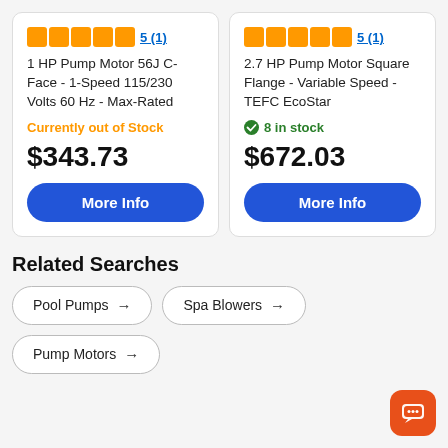[Figure (other): Product card 1: 1 HP Pump Motor 56J C-Face - 1-Speed 115/230 Volts 60 Hz - Max-Rated. Rating: 5 (1). Currently out of Stock. Price: $343.73. More Info button.]
[Figure (other): Product card 2: 2.7 HP Pump Motor Square Flange - Variable Speed - TEFC EcoStar. Rating: 5 (1). 8 in stock. Price: $672.03. More Info button.]
Related Searches
Pool Pumps →
Spa Blowers →
Pump Motors →